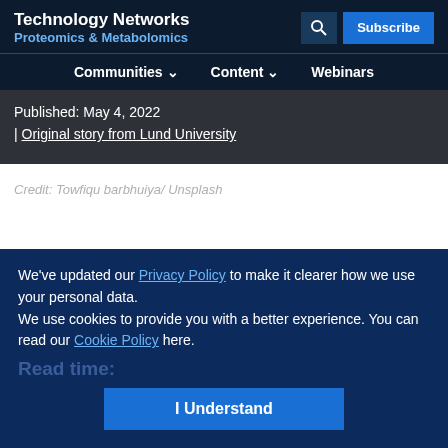Technology Networks
Proteomics & Metabolomics
Communities ∨   Content ∨   Webinars
Published: May 4, 2022
| Original story from Lund University
Credit: Towfiqu barbhuiya/ Unsplash
Download Article
We've updated our Privacy Policy to make it clearer how we use your personal data.
We use cookies to provide you with a better experience. You can read our Cookie Policy here.
Read time:
I Understand